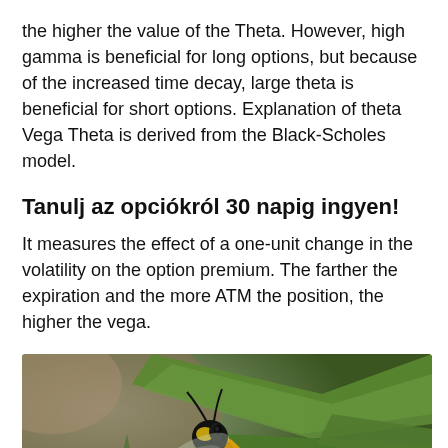the higher the value of the Theta. However, high gamma is beneficial for long options, but because of the increased time decay, large theta is beneficial for short options. Explanation of theta Vega Theta is derived from the Black-Scholes model.
Tanulj az opciókról 30 napig ingyen!
It measures the effect of a one-unit change in the volatility on the option premium. The farther the expiration and the more ATM the position, the higher the vega.
[Figure (photo): Close-up photograph of a wasp on green leaves/grass blades, with blurred background]